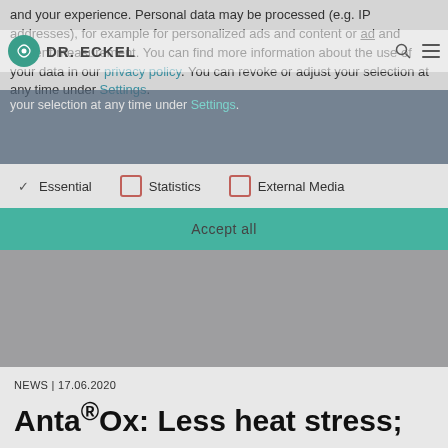and your experience. Personal data may be processed (e.g. IP addresses), for example for personalized ads and content or ad and content measurement. You can find more information about the use of your data in our privacy policy. You can revoke or adjust your selection at any time under Settings.
[Figure (logo): Dr. Eckel logo with teal circular icon and bold text DR. ECKEL, with search and menu icons on the right]
your selection at any time under Settings.
✓ Essential   □ Statistics   □ External Media
Accept all
NEWS | 17.06.2020
Anta®Ox: Less heat stress;